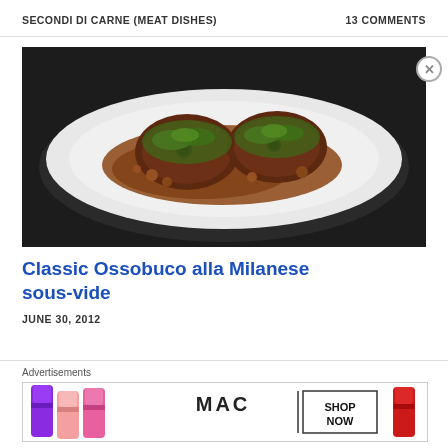SECONDI DI CARNE (MEAT DISHES)    13 COMMENTS
[Figure (photo): A white oval plate with two pieces of ossobuco (braised veal shanks) covered in brown sauce and topped with green gremolata (chopped parsley), placed on a dark background.]
Classic Ossobuco alla Milanese sous-vide
JUNE 30, 2012
Advertisements
[Figure (photo): MAC cosmetics advertisement banner showing lipsticks in purple, pink, and red colors with MAC logo and SHOP NOW text in a box.]